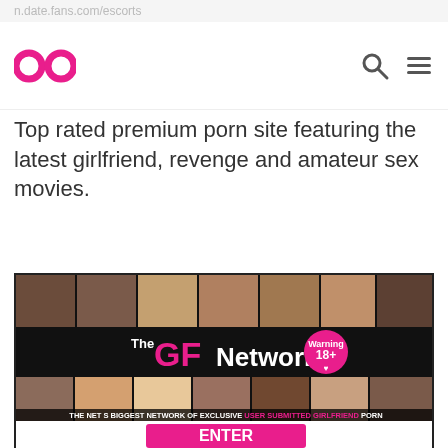n.date.fans.com/escorts
Top rated premium porn site featuring the latest girlfriend, revenge and amateur sex movies.
[Figure (screenshot): Screenshot of TheGFNetwork website showing a collage of amateur images, the GF Network logo with pink text, a Warning 18+ badge, and text reading 'THE NET S BIGGEST NETWORK OF EXCLUSIVE USER SUBMITTED GIRLFRIEND PORN' with an ENTER button below]
TheGFNetwork Amateur Teen Sex
The GF Network has the largest collection of GF Teen sex anywhere on the internet. More than 20 sites, supplying you everything from the amateur niche. Tight Teen Pussy videos, self-shooting scene sluts, casual teen sex, chubby BBW videos, wild sex, Teenage orgasm. We also have every age group covered from sassy milf, to young sex. If you like amateur GF sex you find a better offer than this, hurry up and get inside for an additional discount.
All TheGFNetwork Ex Girlfriend Sites